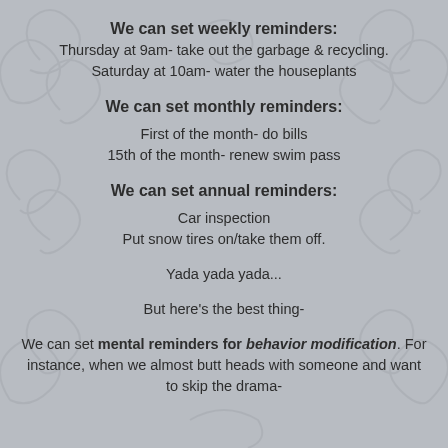We can set weekly reminders:
Thursday at 9am- take out the garbage & recycling.
Saturday at 10am- water the houseplants
We can set monthly reminders:
First of the month- do bills
15th of the month- renew swim pass
We can set annual reminders:
Car inspection
Put snow tires on/take them off.
Yada yada yada...
But here's the best thing-
We can set mental reminders for behavior modification. For instance, when we almost butt heads with someone and want to skip the drama-